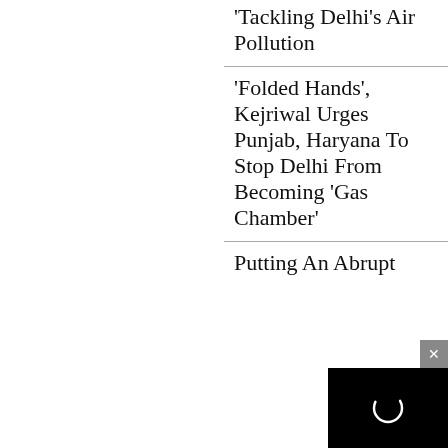Tackling Delhi's Air Pollution
'Folded Hands', Kejriwal Urges Punjab, Haryana To Stop Delhi From Becoming 'Gas Chamber'
Putting An Abrupt
[Figure (screenshot): Black overlay box with a white circular loading/play icon, with a grey close (x) button above it]